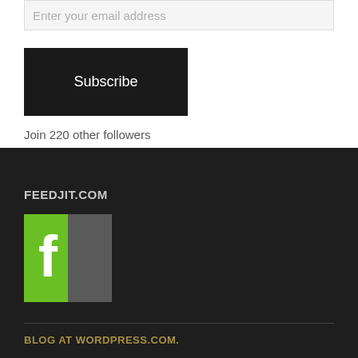Enter your email address
Subscribe
Join 220 other followers
FEEDJIT.COM
[Figure (logo): Feedjit logo — green and grey square with white letter F]
BLOG AT WORDPRESS.COM.